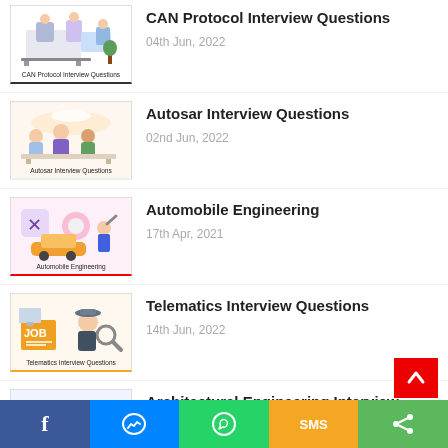CAN Protocol Interview Questions
04th Jun, 2022
Autosar Interview Questions
02nd Jun, 2022
Automobile Engineering
17th Apr, 2021
Telematics Interview Questions
14th Jun, 2022
Architectural Engineering Interview Questions